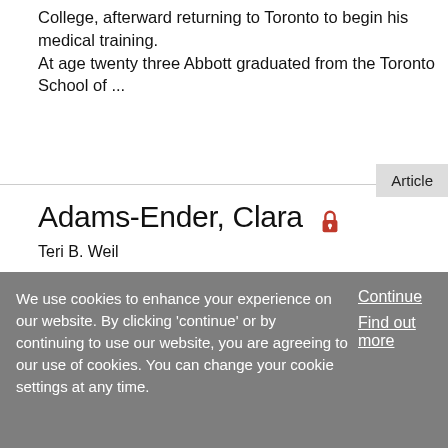College, afterward returning to Toronto to begin his medical training.
At age twenty three Abbott graduated from the Toronto School of ...
Article
Adams-Ender, Clara
Teri B. Weil
Published in print: 15 March 2013
Published online: 31 May 2013
We use cookies to enhance your experience on our website. By clicking 'continue' or by continuing to use our website, you are agreeing to our use of cookies. You can change your cookie settings at any time.
Continue
Find out more